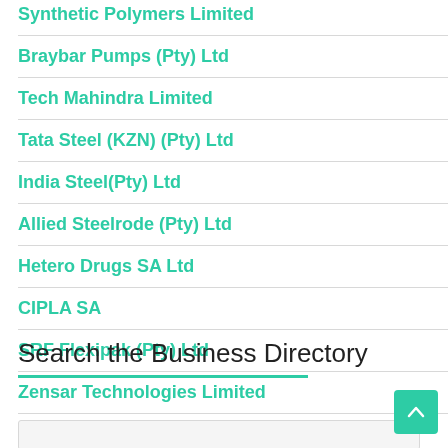Synthetic Polymers Limited
Braybar Pumps (Pty) Ltd
Tech Mahindra Limited
Tata Steel (KZN) (Pty) Ltd
India Steel(Pty) Ltd
Allied Steelrode (Pty) Ltd
Hetero Drugs SA Ltd
CIPLA SA
SRF Flexipak (Pty) Ltd
Zensar Technologies Limited
Search the Business Directory